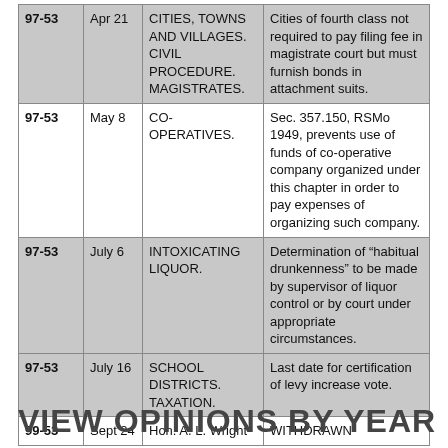|  |  |  |  |
| --- | --- | --- | --- |
| 97-53 | Apr 21 | CITIES, TOWNS AND VILLAGES. CIVIL PROCEDURE. MAGISTRATES. | Cities of fourth class not required to pay filing fee in magistrate court but must furnish bonds in attachment suits. |
| 97-53 | May 8 | CO-OPERATIVES. | Sec. 357.150, RSMo 1949, prevents use of funds of co-operative company organized under this chapter in order to pay expenses of organizing such company. |
| 97-53 | July 6 | INTOXICATING LIQUOR. | Determination of “habitual drunkenness” to be made by supervisor of liquor control or by court under appropriate circumstances. |
| 97-53 | July 16 | SCHOOL DISTRICTS. TAXATION. | Last date for certification of levy increase vote. |
| 99-53 | Sept 24 | Hon. A. L. Wright | WITHDRAWN |
VIEW OPINIONS BY YEAR